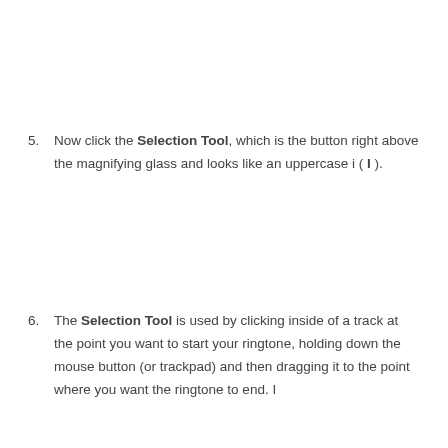Now click the Selection Tool, which is the button right above the magnifying glass and looks like an uppercase i ( I ).
The Selection Tool is used by clicking inside of a track at the point you want to start your ringtone, holding down the mouse button (or trackpad) and then dragging it to the point where you want the ringtone to end. I